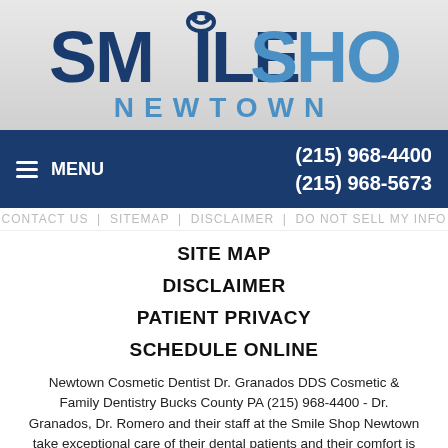[Figure (logo): Smile Shop Newtown dental practice logo with dark blue 'SMILE' text and light blue 'SHOP' text, with 'NEWTOWN' below in spaced light blue letters]
≡ MENU  (215) 968-4400  (215) 968-5673
SITE MAP DISCLAIMER PATIENT PRIVACY SCHEDULE ONLINE (faded navigation links)
SITE MAP
DISCLAIMER
PATIENT PRIVACY
SCHEDULE ONLINE
Newtown Cosmetic Dentist Dr. Granados DDS Cosmetic & Family Dentistry Bucks County PA (215) 968-4400 - Dr. Granados, Dr. Romero and their staff at the Smile Shop Newtown take exceptional care of their dental patients and their comfort is of the highest priority. We provide Family & Cosmetic Dentistry such as Dental Exams, Cleanings, X-rays, Teeth Whitening, Veneers, Crowns, Bridges, Dental Implants, Periodontal Work, CEREC Dental